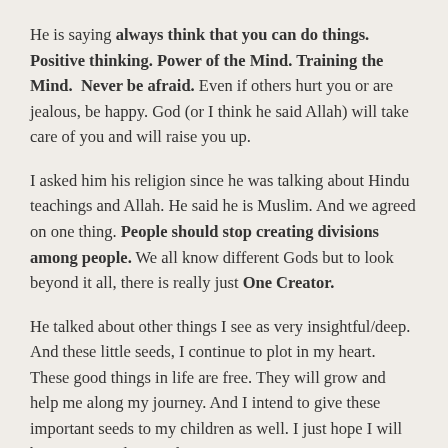He is saying always think that you can do things. Positive thinking. Power of the Mind. Training the Mind. Never be afraid. Even if others hurt you or are jealous, be happy. God (or I think he said Allah) will take care of you and will raise you up.
I asked him his religion since he was talking about Hindu teachings and Allah. He said he is Muslim. And we agreed on one thing. People should stop creating divisions among people. We all know different Gods but to look beyond it all, there is really just One Creator.
He talked about other things I see as very insightful/deep. And these little seeds, I continue to plot in my heart. These good things in life are free. They will grow and help me along my journey. And I intend to give these important seeds to my children as well. I just hope I will be a very good example.
Well, I am glad to have spoken to him.